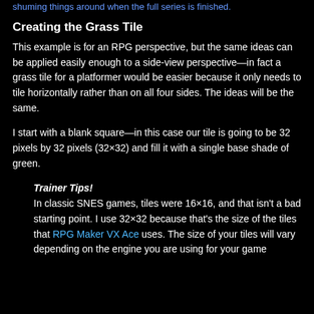shuming things around when the full series is finished.
Creating the Grass Tile
This example is for an RPG perspective, but the same ideas can be applied easily enough to a side-view perspective—in fact a grass tile for a platformer would be easier because it only needs to tile horizontally rather than on all four sides. The ideas will be the same.
I start with a blank square—in this case our tile is going to be 32 pixels by 32 pixels (32×32) and fill it with a single base shade of green.
Trainer Tips! In classic SNES games, tiles were 16×16, and that isn't a bad starting point. I use 32×32 because that's the size of the tiles that RPG Maker VX Ace uses. The size of your tiles will vary depending on the engine you are using for your game